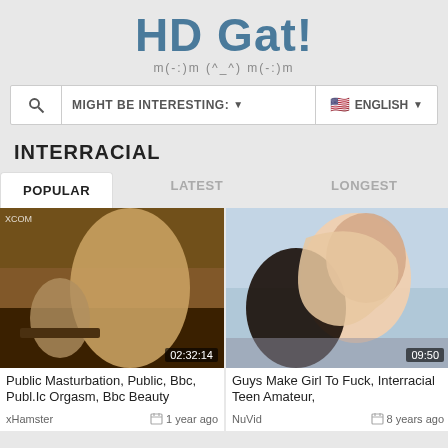HD Gat!
m(-:)m (^_^) m(-:)m
MIGHT BE INTERESTING: ▼   🇺🇸 ENGLISH ▼
INTERRACIAL
POPULAR   LATEST   LONGEST
[Figure (photo): Animated/3D video thumbnail showing western scene, duration 02:32:14]
[Figure (photo): Video thumbnail showing two people, duration 09:50]
Public Masturbation, Public, Bbc, Publ.Ic Orgasm, Bbc Beauty
Guys Make Girl To Fuck, Interracial Teen Amateur,
xHamster   1 year ago
NuVid   8 years ago